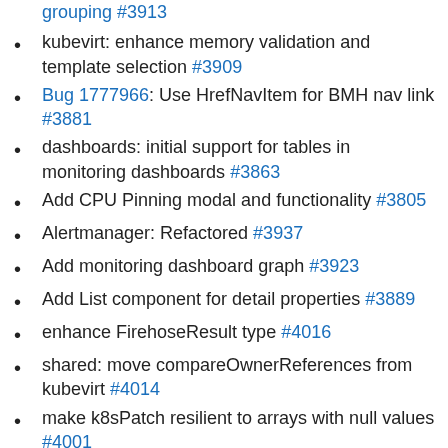grouping #3913
kubevirt: enhance memory validation and template selection #3909
Bug 1777966: Use HrefNavItem for BMH nav link #3881
dashboards: initial support for tables in monitoring dashboards #3863
Add CPU Pinning modal and functionality #3805
Alertmanager: Refactored #3937
Add monitoring dashboard graph #3923
Add List component for detail properties #3889
enhance FirehoseResult type #4016
shared: move compareOwnerReferences from kubevirt #4014
make k8sPatch resilient to arrays with null values #4001
BaremetalHost: Use new errorType field in Host CR #3964
Remove cluster operator upgrade activity #3906